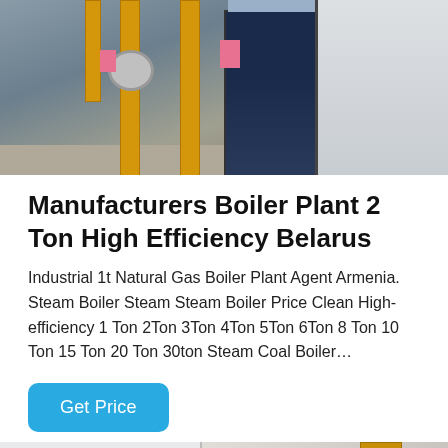[Figure (photo): Industrial boiler plant equipment showing large white and navy blue boiler units with yellow pipes and valves in an industrial setting]
Manufacturers Boiler Plant 2 Ton High Efficiency Belarus
Industrial 1t Natural Gas Boiler Plant Agent Armenia. Steam Boiler Steam Steam Boiler Price Clean High-efficiency 1 Ton 2Ton 3Ton 4Ton 5Ton 6Ton 8 Ton 10 Ton 15 Ton 20 Ton 30ton Steam Coal Boiler…
Get Price
[Figure (photo): Another industrial boiler equipment photo showing white machinery panels and yellow pipe on the right side]